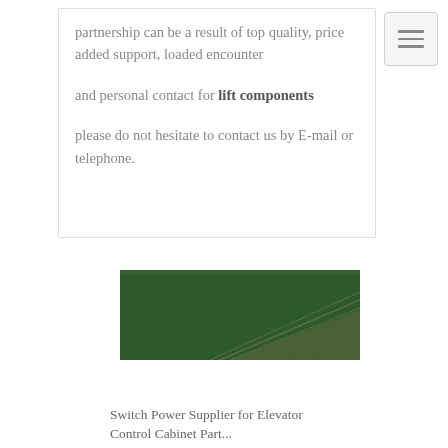partnership can be a result of top quality, price added support, loaded encounter and personal contact for lift components please do not hesitate to contact us by E-mail or telephone.
[Figure (photo): A green surface with a diamond-plate metal component visible in the lower right corner, likely an elevator or lift component.]
Switch Power Supplier for Elevator Control Cabinet Part...